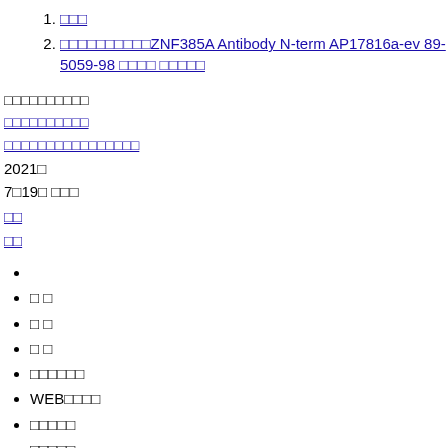1. □□
2. □□□□□□□□□□ZNF385A Antibody N-term AP17816a-ev 89-5059-98 □□□□ □□□□□
□□□□□□□□□□
□□□□□□□□□□
□□□□□□□□□□□□□□□□
2021□
7□19□ □□□
□□
□□
•
• □ □
• □ □
• □ □
• □□□□□□
• WEB□□□□
• □□□□□
• □□□□□
• □□□□□□□□D□□
• □□
• □□